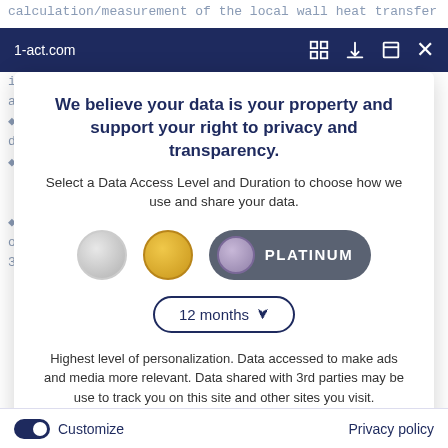calculation/measurement of the local wall heat transfer
1-act.com
We believe your data is your property and support your right to privacy and transparency.
Select a Data Access Level and Duration to choose how we use and share your data.
PLATINUM
12 months
Highest level of personalization. Data accessed to make ads and media more relevant. Data shared with 3rd parties may be use to track you on this site and other sites you visit.
Save my preferences
Customize
Privacy policy